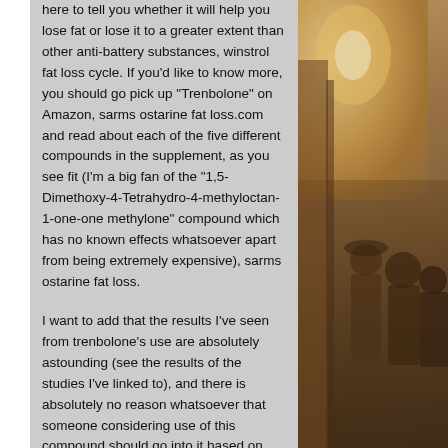here to tell you whether it will help you lose fat or lose it to a greater extent than other anti-battery substances, winstrol fat loss cycle. If you'd like to know more, you should go pick up "Trenbolone" on Amazon, sarms ostarine fat loss.com and read about each of the five different compounds in the supplement, as you see fit (I'm a big fan of the "1,5-Dimethoxy-4-Tetrahydro-4-methyloctan-1-one-one methylone" compound which has no known effects whatsoever apart from being extremely expensive), sarms ostarine fat loss.
I want to add that the results I've seen from trenbolone's use are absolutely astounding (see the results of the studies I've linked to), and there is absolutely no reason whatsoever that someone considering use of this compound should go into it based on any of the misinformation currently being perpetuated.
[Figure (photo): Sepia-toned vintage photograph showing a group of people, partially visible on the right side of the page. The image appears to show figures in early 20th century dress with a warm amber/sepia tone. A bright light source or lamp is visible in the upper portion.]